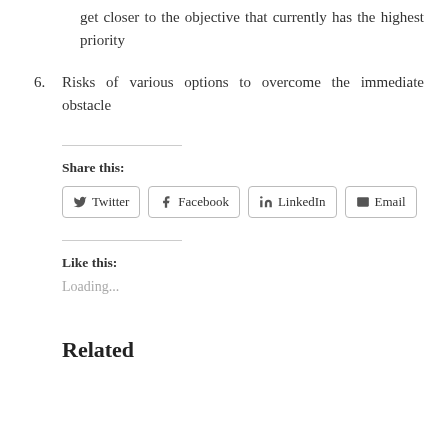get closer to the objective that currently has the highest priority
6. Risks of various options to overcome the immediate obstacle
Share this:
Twitter  Facebook  LinkedIn  Email
Like this:
Loading...
Related